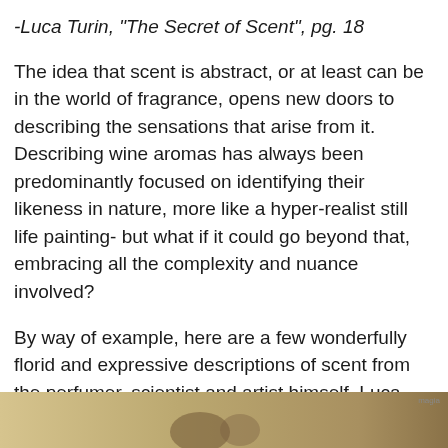-Luca Turin, "The Secret of Scent", pg. 18
The idea that scent is abstract, or at least can be in the world of fragrance, opens new doors to describing the sensations that arise from it. Describing wine aromas has always been predominantly focused on identifying their likeness in nature, more like a hyper-realist still life painting- but what if it could go beyond that, embracing all the complexity and nuance involved?
By way of example, here are a few wonderfully florid and expressive descriptions of scent from the perfumer, scientist and artist himself, Luca Turin...
[Figure (photo): Bottom strip showing a partial photograph, warm golden/brown tones, appears to be an outdoor or nature scene.]